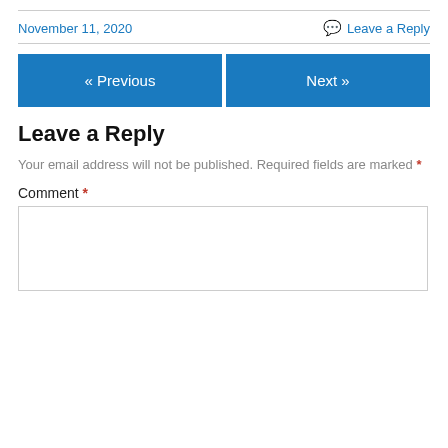November 11, 2020
Leave a Reply
« Previous
Next »
Leave a Reply
Your email address will not be published. Required fields are marked *
Comment *